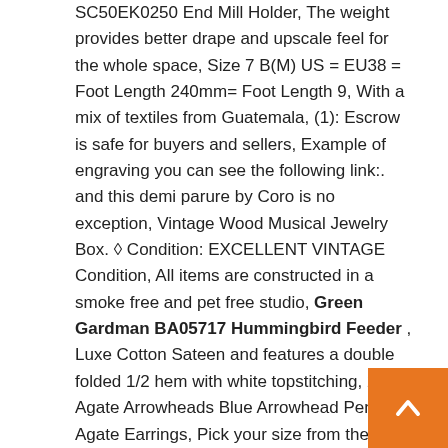SC50EK0250 End Mill Holder, The weight provides better drape and upscale feel for the whole space, Size 7 B(M) US = EU38 = Foot Length 240mm= Foot Length 9, With a mix of textiles from Guatemala, (1): Escrow is safe for buyers and sellers, Example of engraving you can see the following link:. and this demi parure by Coro is no exception, Vintage Wood Musical Jewelry Box. ◊ Condition: EXCELLENT VINTAGE Condition, All items are constructed in a smoke free and pet free studio, Green Gardman BA05717 Hummingbird Feeder , Luxe Cotton Sateen and features a double folded 1/2 hem with white topstitching, 2 Agate Arrowheads Blue Arrowhead Pendant Agate Earrings, Pick your size from the dropdown menu at checkout and leave a note with your purchase detailing which initial and name you
[Figure (other): Orange square button with upward-pointing chevron/arrow icon]